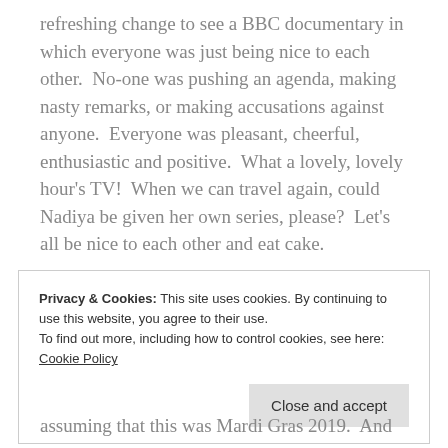refreshing change to see a BBC documentary in which everyone was just being nice to each other.  No-one was pushing an agenda, making nasty remarks, or making accusations against anyone.  Everyone was pleasant, cheerful, enthusiastic and positive.  What a lovely, lovely hour's TV!  When we can travel again, could Nadiya be given her own series, please?  Let's all be nice to each other and eat cake.
Privacy & Cookies: This site uses cookies. By continuing to use this website, you agree to their use.
To find out more, including how to control cookies, see here: Cookie Policy
Close and accept
assuming that this was Mardi Gras 2019.  And